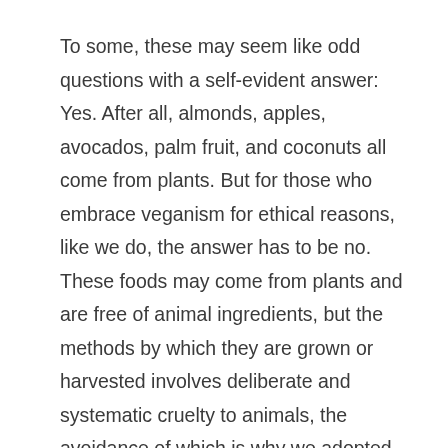To some, these may seem like odd questions with a self-evident answer: Yes. After all, almonds, apples, avocados, palm fruit, and coconuts all come from plants. But for those who embrace veganism for ethical reasons, like we do, the answer has to be no. These foods may come from plants and are free of animal ingredients, but the methods by which they are grown or harvested involves deliberate and systematic cruelty to animals, the avoidance of which is why we adopted a vegan diet in the first place.
Almonds, apples, and avocados are pollinated by a harmful process known as migratory beekeeping. Rainforest (and therefore animal habitat) is being razed and animals such as tigers and orangutans are being shot, beaten, and burned alive by palm fruit farmers and